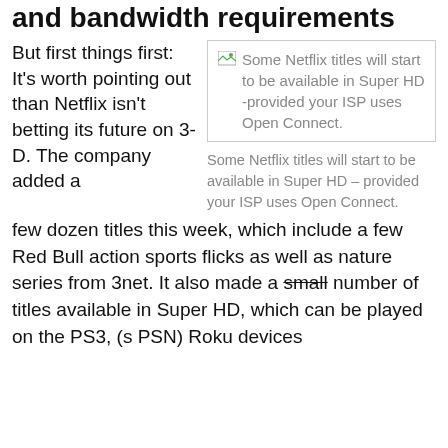and bandwidth requirements
But first things first: It's worth pointing out than Netflix isn't betting its future on 3-D. The company added a few dozen titles this week, which include a few Red Bull action sports flicks as well as nature series from 3net. It also made a small number of titles available in Super HD, which can be played on the PS3, (s PSN) Roku devices
[Figure (screenshot): Image placeholder showing text: Some Netflix titles will start to be available in Super HD - provided your ISP uses Open Connect.]
Some Netflix titles will start to be available in Super HD – provided your ISP uses Open Connect.